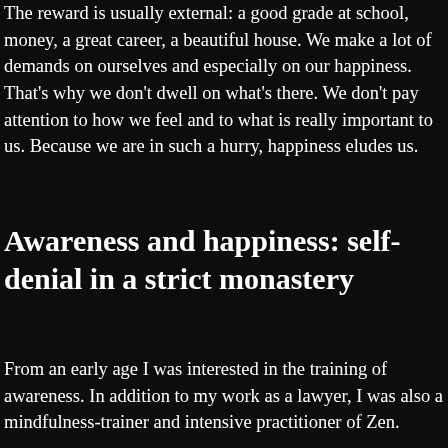The reward is usually external: a good grade at school, money, a great career, a beautiful house. We make a lot of demands on ourselves and especially on our happiness. That's why we don't dwell on what's there. We don't pay attention to how we feel and to what is really important to us. Because we are in such a hurry, happiness eludes us.
Awareness and happiness: self-denial in a strict monastery
From an early age I was interested in the training of awareness. In addition to my work as a lawyer, I was also a mindfulness-trainer and intensive practitioner of Zen.